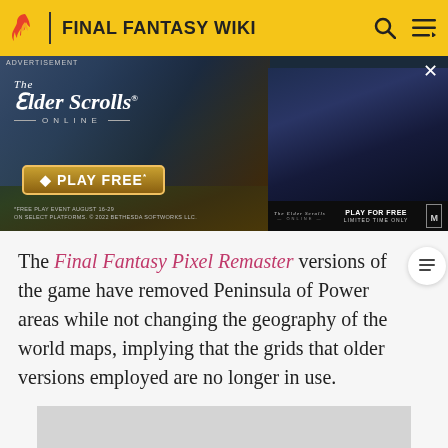FINAL FANTASY WIKI
[Figure (screenshot): Advertisement banner for The Elder Scrolls Online 'Play Free' event, showing fantasy battle scenes and a secondary panel with a dark atmospheric game scene and 'Play For Free Limited Time Only' text.]
The Final Fantasy Pixel Remaster versions of the game have removed Peninsula of Power areas while not changing the geography of the world maps, implying that the grids that older versions employed are no longer in use.
[Figure (screenshot): Bottom advertisement placeholder, gray rectangle.]